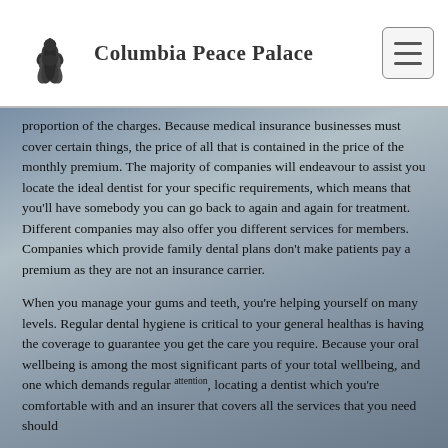Columbia Peace Palace
proportion of the charges. Because medical insurance businesses must cover certain things, the price of all that is contained in the price of the monthly premium. The majority of companies will endeavour to assist you locate the ideal dentist for your specific requirements, which means that you'll have somebody you can go back to again and again for treatment. Different companies may also offer you different services for members. Companies which provide family dental plans don't make patients pay a premium as they are not an insurance carrier.
When you manage your gums and teeth, you're helping yourself on many levels. Regular dental hygiene is critical to your general healthas is having the coverage to guarantee you get the care you require. Because your oral wellbeing is among the most significant parts of your total wellbeing, and one which demands regular attention, locating a dentist which you're comfortable with and an insurer that covers all the services that you need should